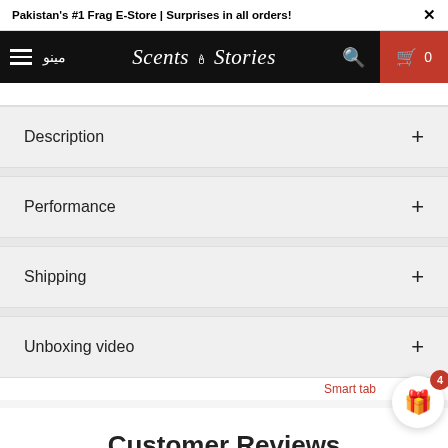Pakistan's #1 Frag E-Store | Surprises in all orders!
[Figure (screenshot): Scents & Stories e-commerce website navigation bar with hamburger menu, Arabic text مینو, Scents & Stories logo, search icon, and cart icon with 0 items]
Description
Performance
Shipping
Unboxing video
Smart tab
Customer Reviews
No reviews yet
Write a review